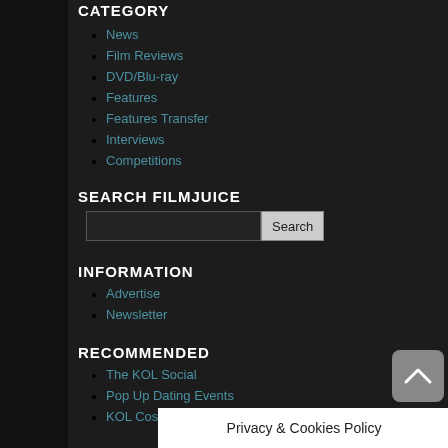CATEGORY
News
Film Reviews
DVD/Blu-ray
Features
Features Transfer
Interviews
Competitions
SEARCH FILMJUICE
INFORMATION
Advertise
Newsletter
RECOMMENDED
The KOL Social
Pop Up Dating Events
KOL Cosmetics
ABOUT FILMJU...
Privacy & Cookies Policy